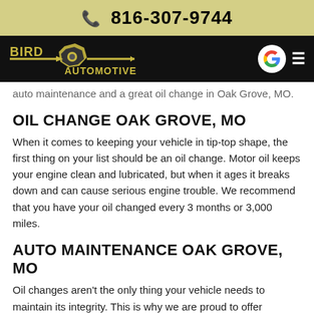816-307-9744
[Figure (logo): Bird Automotive logo in yellow on black background with Google icon and hamburger menu]
auto maintenance and a great oil change in Oak Grove, MO.
OIL CHANGE OAK GROVE, MO
When it comes to keeping your vehicle in tip-top shape, the first thing on your list should be an oil change. Motor oil keeps your engine clean and lubricated, but when it ages it breaks down and can cause serious engine trouble. We recommend that you have your oil changed every 3 months or 3,000 miles.
AUTO MAINTENANCE OAK GROVE, MO
Oil changes aren't the only thing your vehicle needs to maintain its integrity. This is why we are proud to offer